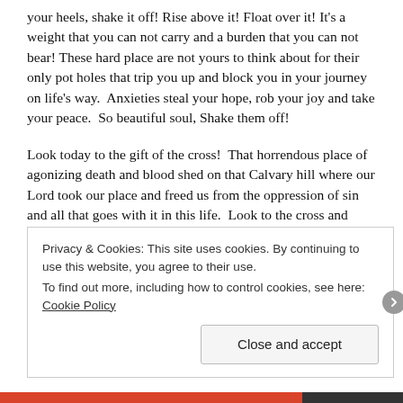your heels, shake it off! Rise above it! Float over it! It's a weight that you can not carry and a burden that you can not bear! These hard place are not yours to think about for their only pot holes that trip you up and block you in your journey on life's way.  Anxieties steal your hope, rob your joy and take your peace.  So beautiful soul, Shake them off!
Look today to the gift of the cross!  That horrendous place of agonizing death and blood shed on that Calvary hill where our Lord took our place and freed us from the oppression of sin and all that goes with it in this life.  Look to the cross and celebrate that scandalous event of blood shed, and know that it was all for us, for our forgiveness and for our freedom from the bondage that has us
Privacy & Cookies: This site uses cookies. By continuing to use this website, you agree to their use.
To find out more, including how to control cookies, see here: Cookie Policy
Close and accept